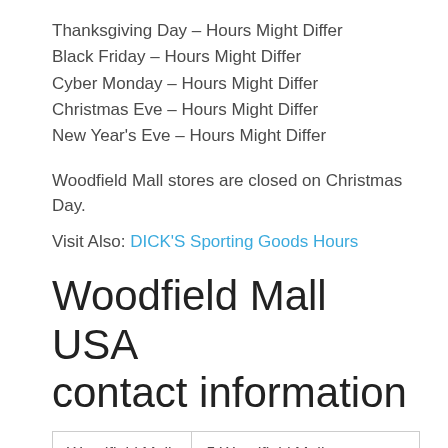Thanksgiving Day – Hours Might Differ
Black Friday – Hours Might Differ
Cyber Monday – Hours Might Differ
Christmas Eve – Hours Might Differ
New Year's Eve – Hours Might Differ
Woodfield Mall stores are closed on Christmas Day.
Visit Also: DICK'S Sporting Goods Hours
Woodfield Mall USA contact information
| Woodfield Mall Shopping Centre Location | 5 Woodfield Mall, Schaumburg, IL 60173 |
| State | Illinois |